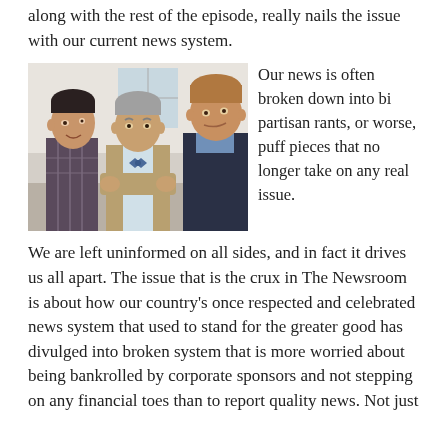along with the rest of the episode, really nails the issue with our current news system.
[Figure (photo): Three men in a conversation: a young dark-haired man on the left, an older man in a tan suit with a bow tie in the center, and a man with reddish-blond hair on the right.]
Our news is often broken down into bi partisan rants, or worse, puff pieces that no longer take on any real issue.
We are left uninformed on all sides, and in fact it drives us all apart. The issue that is the crux in The Newsroom is about how our country's once respected and celebrated news system that used to stand for the greater good has divulged into broken system that is more worried about being bankrolled by corporate sponsors and not stepping on any financial toes than to report quality news. Not just